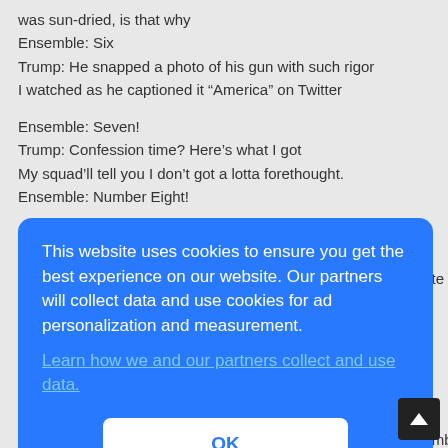was sun-dried, is that why
Ensemble: Six
Trump: He snapped a photo of his gun with such rigor
I watched as he captioned it “America” on Twitter
Ensemble: Seven!
Trump: Confession time? Here’s what I got
My squad’ll tell you I don’t got a lotta forethought.
Ensemble: Number Eight!
[Figure (screenshot): Cookie consent overlay dialog with blue background reading: 'This website uses cookies to ensure you get the best experience on our website. Our partners will collect data and use cookies for ad personalization and measurement.' with a link 'Learn how we and our partners collect and use data.' and an OK button.]
fate
Ensemble: One Two Three Four Five Six Seven Eight Nine Number Ten